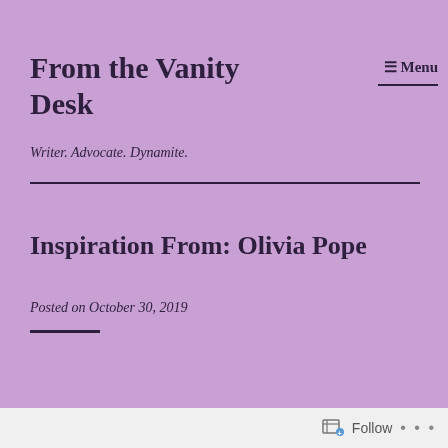From the Vanity Desk
Writer. Advocate. Dynamite.
≡ Menu
Inspiration From: Olivia Pope
Posted on October 30, 2019
Follow ...